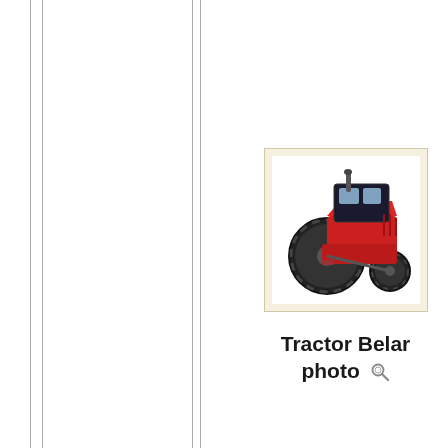[Figure (photo): Thumbnail photo of a red Belarus tractor against a white background, shown in a cream/beige bordered frame. Below the image is the text 'Tractor Belar photo' with a magnifying glass icon.]
Tractor Belar photo